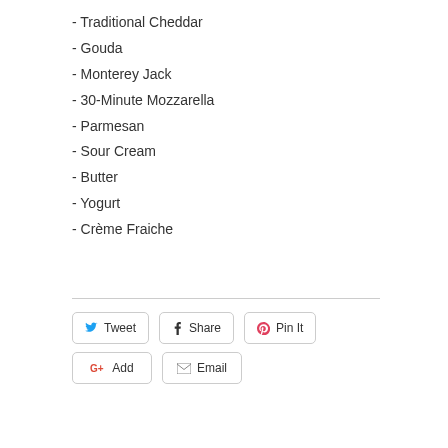- Traditional Cheddar
- Gouda
- Monterey Jack
- 30-Minute Mozzarella
- Parmesan
- Sour Cream
- Butter
- Yogurt
- Crème Fraiche